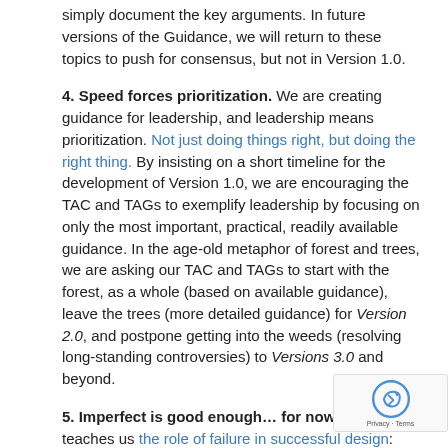simply document the key arguments. In future versions of the Guidance, we will return to these topics to push for consensus, but not in Version 1.0.
4. Speed forces prioritization. We are creating guidance for leadership, and leadership means prioritization. Not just doing things right, but doing the right thing. By insisting on a short timeline for the development of Version 1.0, we are encouraging the TAC and TAGs to exemplify leadership by focusing on only the most important, practical, readily available guidance. In the age-old metaphor of forest and trees, we are asking our TAC and TAGs to start with the forest, as a whole (based on available guidance), leave the trees (more detailed guidance) for Version 2.0, and postpone getting into the weeds (resolving long-standing controversies) to Versions 3.0 and beyond.
5. Imperfect is good enough… for now. History teaches us the role of failure in successful design: that rapid prototyping of less-than-perfect solutions is the most efficient pathway to the best solutions, and we have